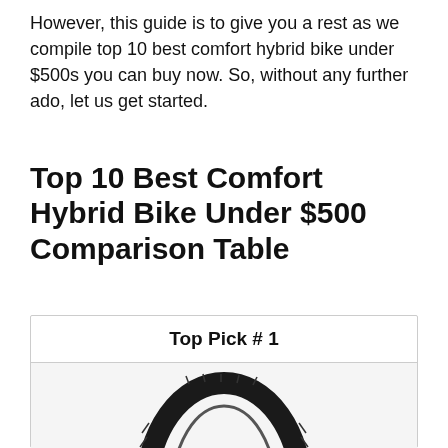However, this guide is to give you a rest as we compile top 10 best comfort hybrid bike under $500s you can buy now. So, without any further ado, let us get started.
Top 10 Best Comfort Hybrid Bike Under $500 Comparison Table
Top Pick # 1
[Figure (photo): A bicycle tire/tyre shown upright, black with tread pattern, partially cropped at bottom of card.]